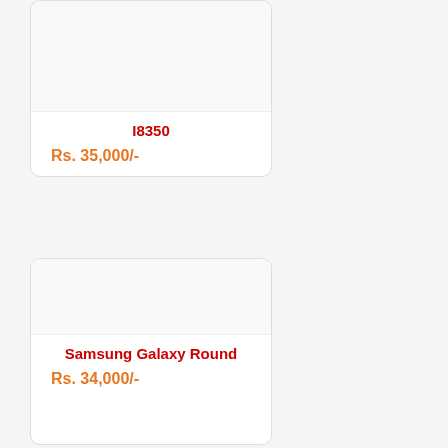I8350
Rs. 35,000/-
Samsung Galaxy Round
Rs. 34,000/-